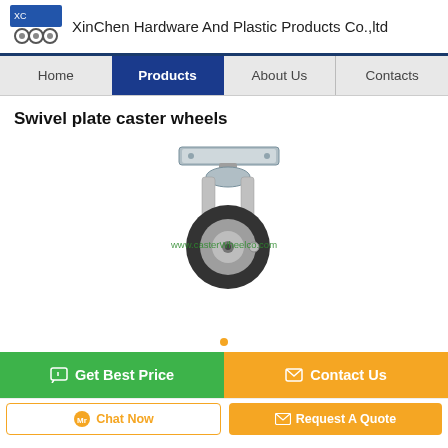XinChen Hardware And Plastic Products Co.,ltd
Home | Products | About Us | Contacts
Swivel plate caster wheels
[Figure (photo): Swivel plate caster wheel product photo showing a single caster with a black rubber wheel, silver metal housing, and flat mounting plate on top. Watermark text: www.casterWheelco.com]
Get Best Price | Contact Us
Chat Now | Request A Quote